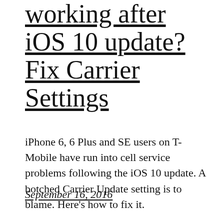working after iOS 10 update? Fix Carrier Settings
iPhone 6, 6 Plus and SE users on T-Mobile have run into cell service problems following the iOS 10 update. A botched Carrier Update setting is to blame. Here’s how to fix it.
September 16, 2016